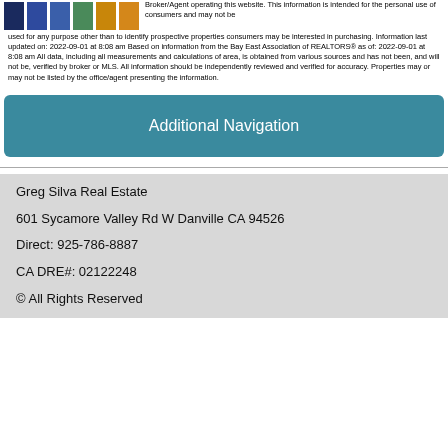presented here may or may not be listed by the Broker/Agent operating this website. This information is intended for the personal use of consumers and may not be used for any purpose other than to identify prospective properties consumers may be interested in purchasing. Information last updated on: 2022-09-01 at 8:08 am Based on information from the Bay East Association of REALTORS® as of: 2022-09-01 at 8:08 am All data, including all measurements and calculations of area, is obtained from various sources and has not been, and will not be, verified by broker or MLS. All information should be independently reviewed and verified for accuracy. Properties may or may not be listed by the office/agent presenting the information.
[Figure (other): Colored block logo with navy, blue, medium blue, green, gold, and orange rectangular blocks]
Additional Navigation
Greg Silva Real Estate
601 Sycamore Valley Rd W Danville CA 94526
Direct: 925-786-8887
CA DRE#: 02122248
© All Rights Reserved